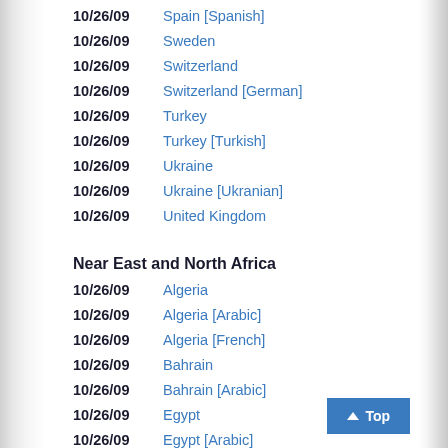10/26/09  Spain [Spanish]
10/26/09  Sweden
10/26/09  Switzerland
10/26/09  Switzerland [German]
10/26/09  Turkey
10/26/09  Turkey [Turkish]
10/26/09  Ukraine
10/26/09  Ukraine [Ukranian]
10/26/09  United Kingdom
Near East and North Africa
10/26/09  Algeria
10/26/09  Algeria [Arabic]
10/26/09  Algeria [French]
10/26/09  Bahrain
10/26/09  Bahrain [Arabic]
10/26/09  Egypt
10/26/09  Egypt [Arabic]
10/26/09  Iran
10/26/09  Iran [Persian]
10/26/09  Iraq
10/26/09  Iraq [Arabic]